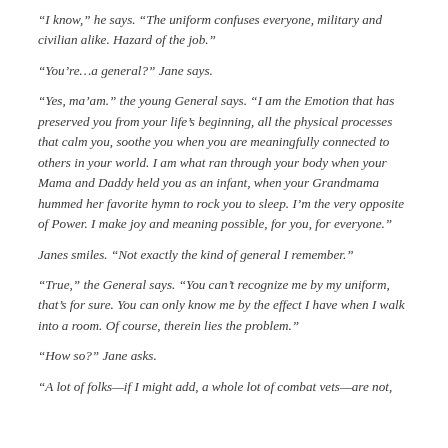“I know,” he says. “The uniform confuses everyone, military and civilian alike. Hazard of the job.”
“You’re…a general?” Jane says.
“Yes, ma’am.” the young General says. “I am the Emotion that has preserved you from your life’s beginning, all the physical processes that calm you, soothe you when you are meaningfully connected to others in your world. I am what ran through your body when your Mama and Daddy held you as an infant, when your Grandmama hummed her favorite hymn to rock you to sleep. I’m the very opposite of Power. I make joy and meaning possible, for you, for everyone.”
Janes smiles. “Not exactly the kind of general I remember.”
“True,” the General says. “You can’t recognize me by my uniform, that’s for sure. You can only know me by the effect I have when I walk into a room. Of course, therein lies the problem.”
“How so?” Jane asks.
“A lot of folks—if I might add, a whole lot of combat vets—are not,